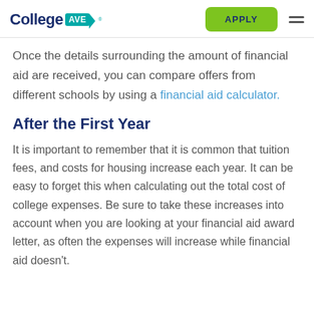College AVE | APPLY
Once the details surrounding the amount of financial aid are received, you can compare offers from different schools by using a financial aid calculator.
After the First Year
It is important to remember that it is common that tuition fees, and costs for housing increase each year. It can be easy to forget this when calculating out the total cost of college expenses. Be sure to take these increases into account when you are looking at your financial aid award letter, as often the expenses will increase while financial aid doesn't.